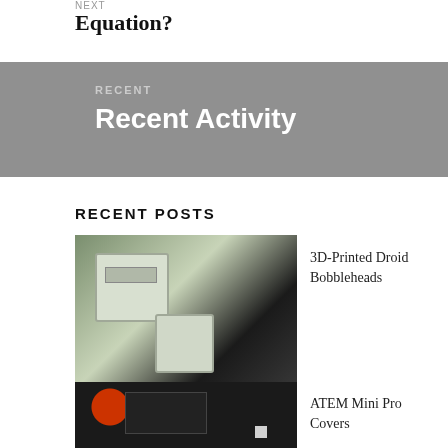NEXT
Equation?
RECENT
Recent Activity
RECENT POSTS
[Figure (photo): Photo of 3D-printed droid bobblehead boxes on a dark surface with green background]
3D-Printed Droid Bobbleheads
[Figure (photo): Photo of ATEM Mini Pro device setup with red recording light and dark background]
ATEM Mini Pro Covers